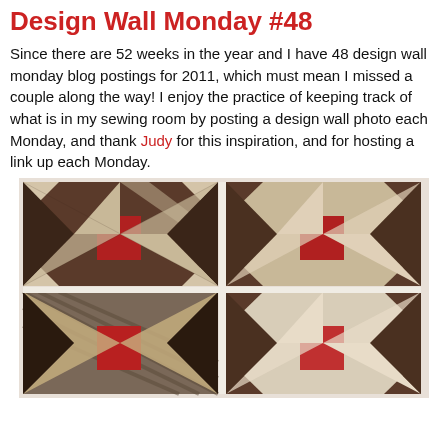Design Wall Monday #48
Since there are 52 weeks in the year and I have 48 design wall monday blog postings for 2011, which must mean I missed a couple along the way! I enjoy the practice of keeping track of what is in my sewing room by posting a design wall photo each Monday, and thank Judy for this inspiration, and for hosting a link up each Monday.
[Figure (photo): Four quilt blocks arranged in a 2x2 grid on a white background. The blocks feature a star/pinwheel pattern using dark brown/grey patterned fabric, cream/tan floral fabric, and red fabric squares and accents.]